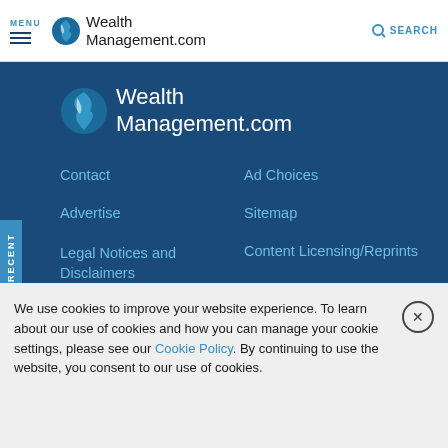MENU | WealthManagement.com | SEARCH
[Figure (logo): WealthManagement.com footer logo on dark blue background]
Contact
Ad Choices
Advertise
Sitemap
Legal Notices and Disclaimers
Content Licensing/Reprints
CCPA: Do not sell my personal info
We use cookies to improve your website experience. To learn about our use of cookies and how you can manage your cookie settings, please see our Cookie Policy. By continuing to use the website, you consent to our use of cookies.